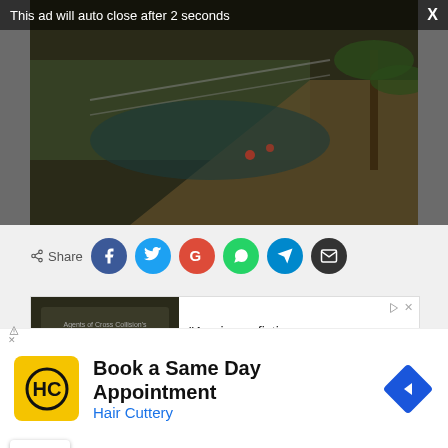This ad will auto close after 2 seconds
[Figure (photo): Aerial view of a tropical beach with palm trees and pool]
[Figure (infographic): Share buttons row: Share icon label followed by Facebook, Twitter, Google+, WhatsApp, Telegram, Email circular buttons]
[Figure (screenshot): Ad box showing book cover image on left and text quote on right: 'A science fiction spy thriller...brilliantly insightful scientific speculation...meticulously described science fiction back-']
Book a Same Day Appointment
Hair Cuttery